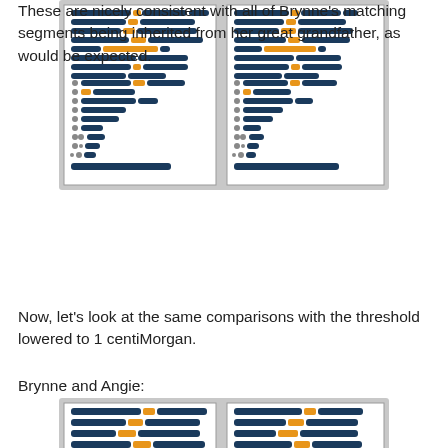[Figure (illustration): Two side-by-side chromosome comparison panels showing DNA matching segments in dark navy and orange colors, partially cropped at top]
These are nicely consistent with all of Brynne's matching segments being inherited from her great grandfather, as would be expected.
Now, let's look at the same comparisons with the threshold lowered to 1 centiMorgan.
Brynne and Angie:
[Figure (illustration): Two side-by-side chromosome comparison panels showing DNA matching segments at 1 centiMorgan threshold, partially cropped at bottom]